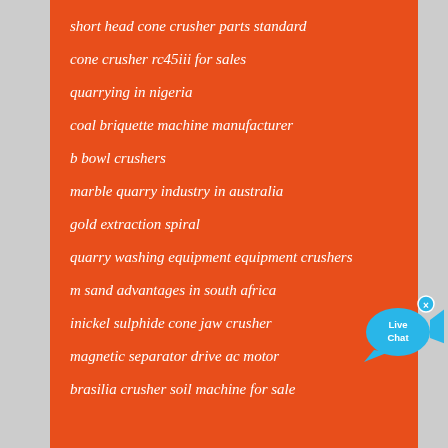short head cone crusher parts standard
cone crusher rc45iii for sales
quarrying in nigeria
coal briquette machine manufacturer
b bowl crushers
marble quarry industry in australia
gold extraction spiral
quarry washing equipment equipment crushers
m sand advantages in south africa
inickel sulphide cone jaw crusher
magnetic separator drive ac motor
brasilia crusher soil machine for sale
[Figure (illustration): Live Chat button widget - blue speech bubble with fish shape and text 'Live Chat' with an X close button]